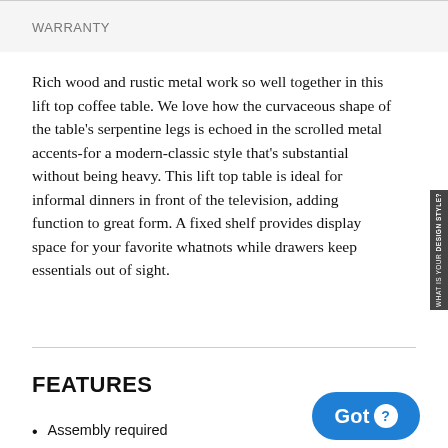WARRANTY
Rich wood and rustic metal work so well together in this lift top coffee table. We love how the curvaceous shape of the table's serpentine legs is echoed in the scrolled metal accents-for a modern-classic style that's substantial without being heavy. This lift top table is ideal for informal dinners in front of the television, adding function to great form. A fixed shelf provides display space for your favorite whatnots while drawers keep essentials out of sight.
FEATURES
Assembly required
2 drawers
Made of veneers, wood, engineered wood and cast resin